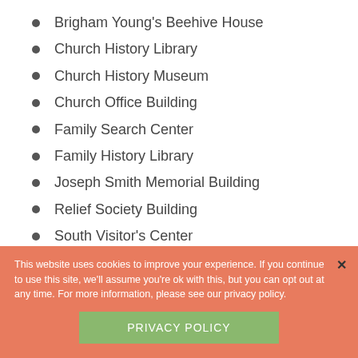Brigham Young's Beehive House
Church History Library
Church History Museum
Church Office Building
Family Search Center
Family History Library
Joseph Smith Memorial Building
Relief Society Building
South Visitor's Center
Parking
Parking is available in several lots around Temple
This website uses cookies to improve your experience. If you continue to use this site, we'll assume you're ok with this, but you can opt out at any time. For more information, please see our privacy policy.
PRIVACY POLICY